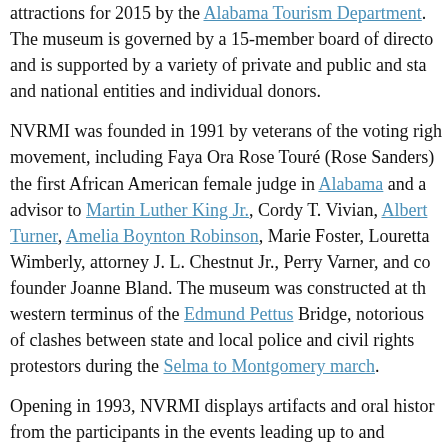attractions for 2015 by the Alabama Tourism Department. The museum is governed by a 15-member board of directors and is supported by a variety of private and public and state and national entities and individual donors.
NVRMI was founded in 1991 by veterans of the voting rights movement, including Faya Ora Rose Touré (Rose Sanders), the first African American female judge in Alabama and an advisor to Martin Luther King Jr., Cordy T. Vivian, Albert Turner, Amelia Boynton Robinson, Marie Foster, Louretta Wimberly, attorney J. L. Chestnut Jr., Perry Varner, and co-founder Joanne Bland. The museum was constructed at the western terminus of the Edmund Pettus Bridge, notorious of clashes between state and local police and civil rights protestors during the Selma to Montgomery march.
Opening in 1993, NVRMI displays artifacts and oral history from the participants in the events leading up to and including the 1965 Selma to Montgomery marches and the passage of the 1965 Voting Rights Act, as well as from the many average citizens, often called "foot soldiers," who struggled for African American voting rights and women's